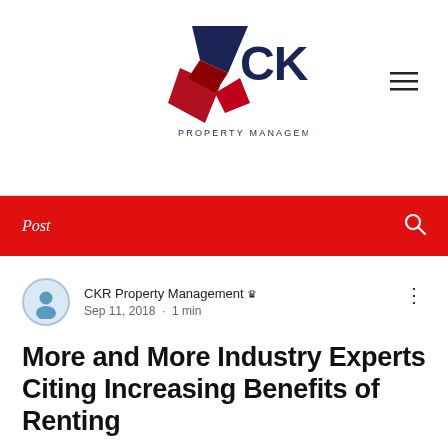[Figure (logo): CKR Property Management, LLC logo with geometric star/chevron shapes in navy and red, text 'CKR' large and 'PROPERTY MANAGEMENT, LLC' below]
Post
CKR Property Management 👑 Sep 11, 2018 • 1 min
More and More Industry Experts Citing Increasing Benefits of Renting